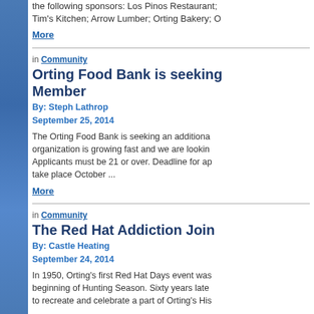the following sponsors: Los Pinos Restaurant; Tim's Kitchen; Arrow Lumber; Orting Bakery; O
More
in Community
Orting Food Bank is seeking Member
By: Steph Lathrop
September 25, 2014
The Orting Food Bank is seeking an additional organization is growing fast and we are looking Applicants must be 21 or over. Deadline for a take place October ...
More
in Community
The Red Hat Addiction Join
By: Castle Heating
September 24, 2014
In 1950, Orting's first Red Hat Days event wa beginning of Hunting Season. Sixty years lat to recreate and celebrate a part of Orting's Hi
Join us for an event filled day, Saturday, Octo
More